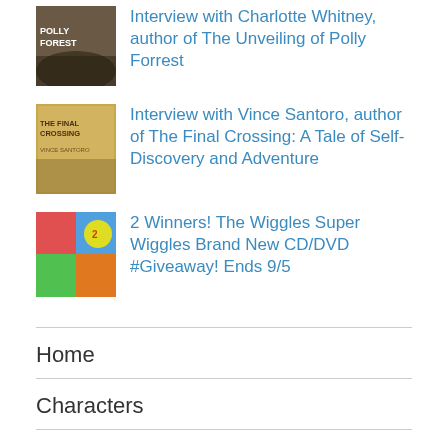Interview with Charlotte Whitney, author of The Unveiling of Polly Forrest
Interview with Vince Santoro, author of The Final Crossing: A Tale of Self-Discovery and Adventure
2 Winners! The Wiggles Super Wiggles Brand New CD/DVD #Giveaway! Ends 9/5
Home
Characters
Cocktails